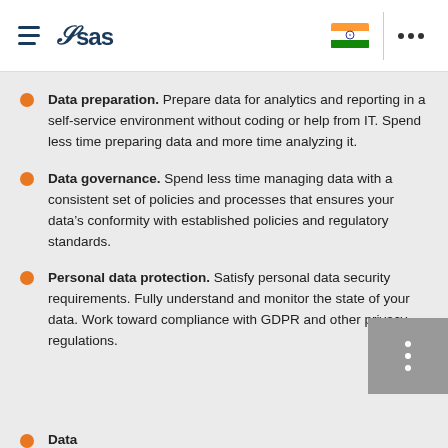SAS logo header with hamburger menu, Indian flag, and ellipsis navigation
Data preparation. Prepare data for analytics and reporting in a self-service environment without coding or help from IT. Spend less time preparing data and more time analyzing it.
Data governance. Spend less time managing data with a consistent set of policies and processes that ensures your data's conformity with established policies and regulatory standards.
Personal data protection. Satisfy personal data security requirements. Fully understand and monitor the state of your data. Work toward compliance with GDPR and other privacy regulations.
Data... (partially visible fourth bullet)